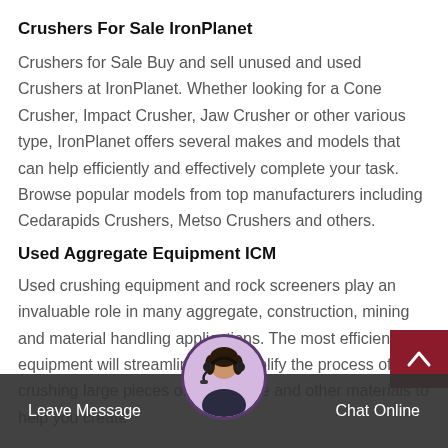Crushers For Sale IronPlanet
Crushers for Sale Buy and sell unused and used Crushers at IronPlanet. Whether looking for a Cone Crusher, Impact Crusher, Jaw Crusher or other various type, IronPlanet offers several makes and models that can help efficiently and effectively complete your task. Browse popular models from top manufacturers including Cedarapids Crushers, Metso Crushers and others.
Used Aggregate Equipment ICM
Used crushing equipment and rock screeners play an invaluable role in many aggregate, construction, mining and material handling applications. The most efficient equipment will streamline and simplify the process of crushing large pieces of rock, stone and other materials to help you create
Leave Message   Chat Online